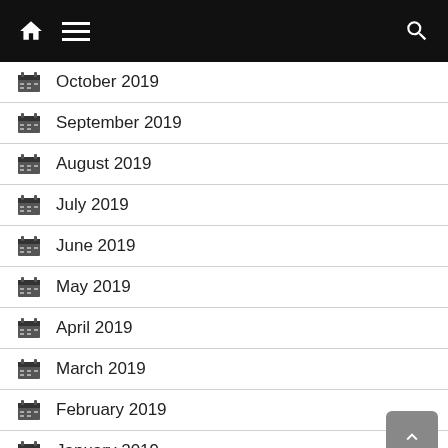Navigation bar with home, menu, and search icons
October 2019
September 2019
August 2019
July 2019
June 2019
May 2019
April 2019
March 2019
February 2019
January 2019
December 2018